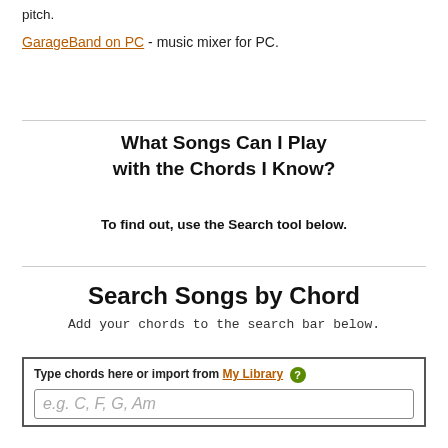pitch.
GarageBand on PC - music mixer for PC.
What Songs Can I Play with the Chords I Know?
To find out, use the Search tool below.
Search Songs by Chord
Add your chords to the search bar below.
Type chords here or import from My Library
e.g. C, F, G, Am